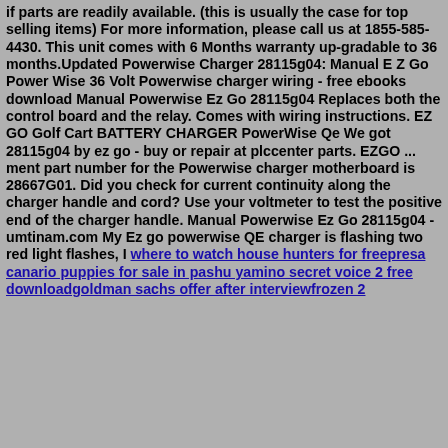if parts are readily available. (this is usually the case for top selling items) For more information, please call us at 1855-585-4430. This unit comes with 6 Months warranty up-gradable to 36 months.Updated Powerwise Charger 28115g04: Manual E Z Go Power Wise 36 Volt Powerwise charger wiring - free ebooks download Manual Powerwise Ez Go 28115g04 Replaces both the control board and the relay. Comes with wiring instructions. EZ GO Golf Cart BATTERY CHARGER PowerWise Qe We got 28115g04 by ez go - buy or repair at plccenter parts. EZGO ... ment part number for the Powerwise charger motherboard is 28667G01. Did you check for current continuity along the charger handle and cord? Use your voltmeter to test the positive end of the charger handle. Manual Powerwise Ez Go 28115g04 - umtinam.com My Ez go powerwise QE charger is flashing two red light flashes, I where to watch house hunters for freepresa canario puppies for sale in pashu yamino secret voice 2 free downloadgoldman sachs offer after interviewfrozen 2